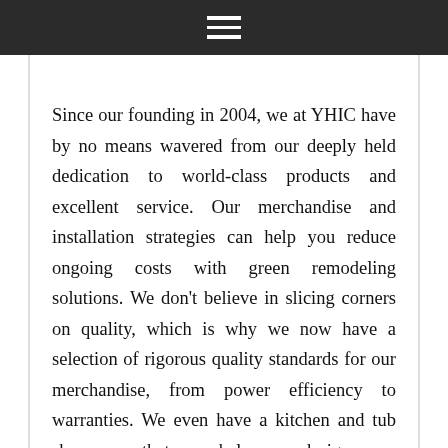☰
Since our founding in 2004, we at YHIC have by no means wavered from our deeply held dedication to world-class products and excellent service. Our merchandise and installation strategies can help you reduce ongoing costs with green remodeling solutions. We don't believe in slicing corners on quality, which is why we now have a selection of rigorous quality standards for our merchandise, from power efficiency to warranties. We even have a kitchen and tub showroom that can help you design your rework. Schedule an appointment with our